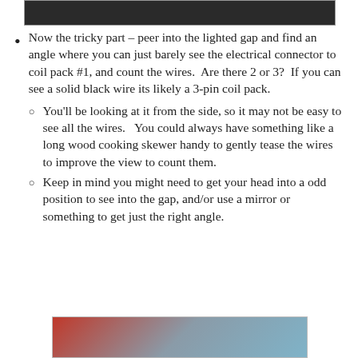[Figure (photo): Top portion of a dark/black photograph, partially visible at top of page]
Now the tricky part – peer into the lighted gap and find an angle where you can just barely see the electrical connector to coil pack #1, and count the wires.  Are there 2 or 3?  If you can see a solid black wire its likely a 3-pin coil pack.
You'll be looking at it from the side, so it may not be easy to see all the wires.   You could always have something like a long wood cooking skewer handy to gently tease the wires to improve the view to count them.
Keep in mind you might need to get your head into a odd position to see into the gap, and/or use a mirror or something to get just the right angle.
[Figure (photo): Bottom portion of a photo showing hands or objects in red and grey/blue tones, partially visible at bottom of page]